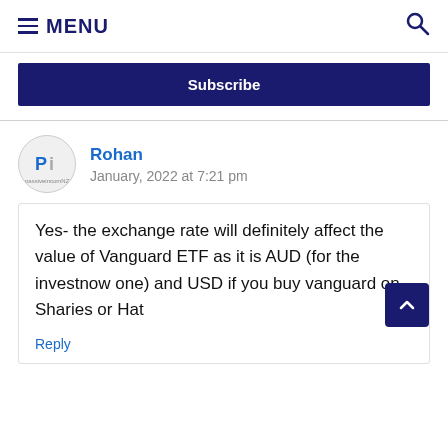≡ MENU 🔍
Subscribe
Rohan
January, 2022 at 7:21 pm
Yes- the exchange rate will definitely affect the value of Vanguard ETF as it is AUD (for the investnow one) and USD if you buy vanguard on Sharies or Hat
Reply